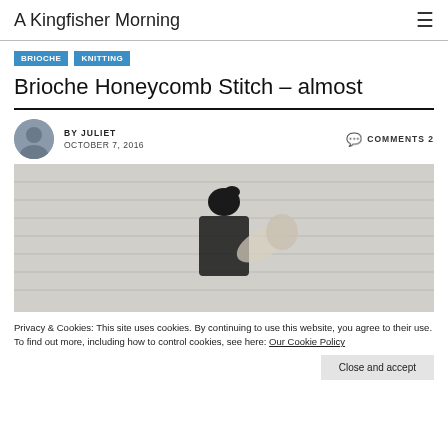A Kingfisher Morning
BRIOCHE   KNITTING
Brioche Honeycomb Stitch – almost
BY JULIET   OCTOBER 7, 2016   COMMENTS 2
[Figure (photo): Person standing against a brick wall, partially obscured, holding up a hand]
Privacy & Cookies: This site uses cookies. By continuing to use this website, you agree to their use.
To find out more, including how to control cookies, see here: Our Cookie Policy